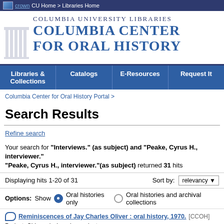CU Home > Libraries Home
Columbia University Libraries — Columbia Center for Oral History
Libraries & Collections | Catalogs | E-Resources | Request It
Columbia Center for Oral History Portal >
Search Results
Refine search
Your search for "Interviews." (as subject) and "Peake, Cyrus H., interviewer." "Peake, Cyrus H., interviewer."(as subject) returned 31 hits
Displaying hits 1-20 of 31   Sort by: relevancy
Options: Show  Oral histories only  Oral histories and archival collections
Reminiscences of Jay Charles Oliver : oral history, 1970. [CCOH]
Project: China missionaries project.
... Program for information. Oral history Oral history Not our jurisdiction 1987 Oliver, Jay 1886- Missionaries China Interviews. Missions China. Oral histories. ftamc Interviews